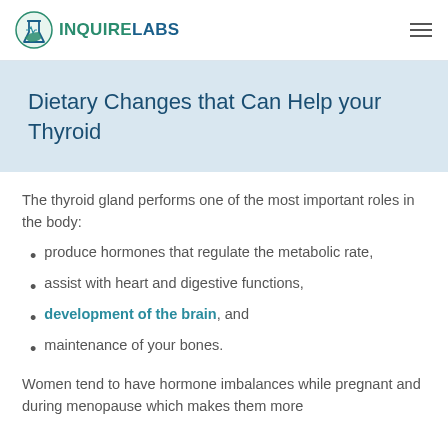[Figure (logo): InquireLabs logo with green flask icon and teal/blue text reading INQUIRELABS]
Dietary Changes that Can Help your Thyroid
The thyroid gland performs one of the most important roles in the body:
produce hormones that regulate the metabolic rate,
assist with heart and digestive functions,
development of the brain, and
maintenance of your bones.
Women tend to have hormone imbalances while pregnant and during menopause which makes them more